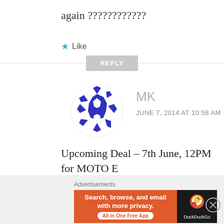again ????????????
★ Like
REPLY
[Figure (illustration): Circular avatar with blue and white geometric/puzzle pattern for user MK]
MK
JUNE 7, 2014 AT 10:58 AM
Upcoming Deal – 7th June, 12PM for MOTO E
★ Like
Advertisements
[Figure (screenshot): DuckDuckGo advertisement banner: Search, browse, and email with more privacy. All in One Free App. Orange background with DuckDuckGo logo on dark right side.]